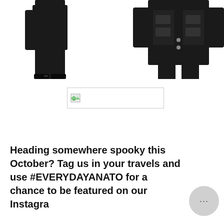[Figure (photo): Person wearing all-black outfit, pants and top, shoes visible at bottom, white background, cropped at torso level on left side of page]
[Figure (photo): Person wearing black vest/jacket with multiple pockets over black pants, white background, cropped at right side of page]
[Figure (other): Broken/missing image placeholder with small icon, bordered rectangle]
Heading somewhere spooky this October? Tag us in your travels and use #EVERYDAYANATO for a chance to be featured on our Instagra...